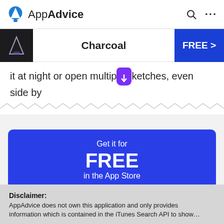AppAdvice
Charcoal — FREE
it at night or open multip…ketches, even side by
Get it for FREE in the App Store
Disclaimer: AppAdvice does not own this application and only provides information which is contained in the iTunes Search API to show…